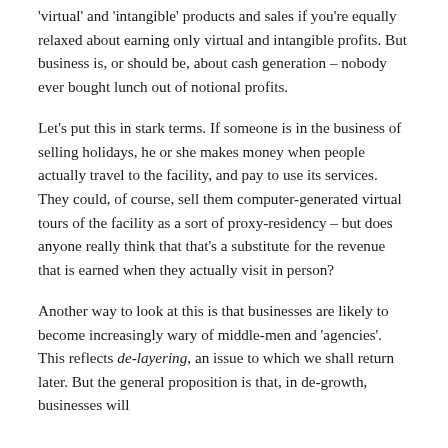'virtual' and 'intangible' products and sales if you're equally relaxed about earning only virtual and intangible profits. But business is, or should be, about cash generation – nobody ever bought lunch out of notional profits.
Let's put this in stark terms. If someone is in the business of selling holidays, he or she makes money when people actually travel to the facility, and pay to use its services. They could, of course, sell them computer-generated virtual tours of the facility as a sort of proxy-residency – but does anyone really think that that's a substitute for the revenue that is earned when they actually visit in person?
Another way to look at this is that businesses are likely to become increasingly wary of middle-men and 'agencies'. This reflects de-layering, an issue to which we shall return later. But the general proposition is that, in de-growth, businesses will